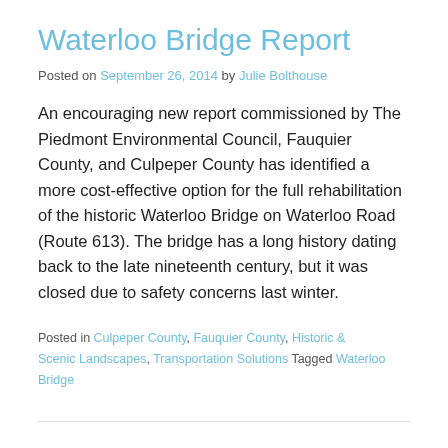Waterloo Bridge Report
Posted on September 26, 2014 by Julie Bolthouse
An encouraging new report commissioned by The Piedmont Environmental Council, Fauquier County, and Culpeper County has identified a more cost-effective option for the full rehabilitation of the historic Waterloo Bridge on Waterloo Road (Route 613). The bridge has a long history dating back to the late nineteenth century, but it was closed due to safety concerns last winter.
Posted in Culpeper County, Fauquier County, Historic & Scenic Landscapes, Transportation Solutions Tagged Waterloo Bridge